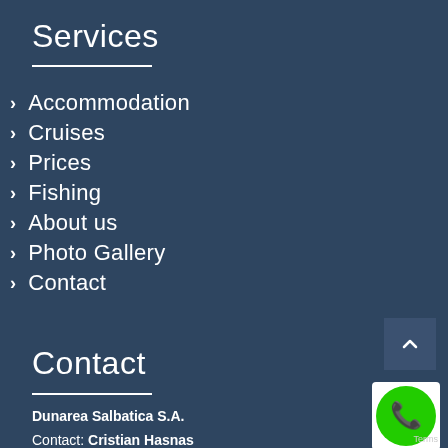Services
Accommodation
Cruises
Prices
Fishing
About us
Photo Gallery
Contact
Contact
Dunarea Salbatica S.A.
Contact: Cristian Hasnas